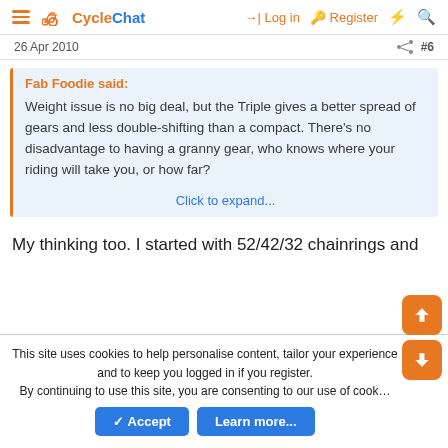CycleChat — Log in | Register
26 Apr 2010  #6
Fab Foodie said:
Weight issue is no big deal, but the Triple gives a better spread of gears and less double-shifting than a compact. There's no disadvantage to having a granny gear, who knows where your riding will take you, or how far?
Click to expand...
My thinking too. I started with 52/42/32 chainrings and
This site uses cookies to help personalise content, tailor your experience and to keep you logged in if you register.
By continuing to use this site, you are consenting to our use of cookies.